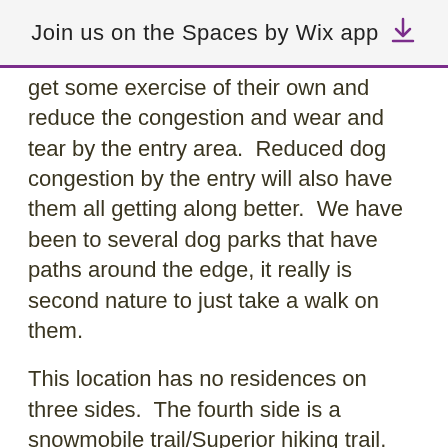Join us on the Spaces by Wix app
get some exercise of their own and reduce the congestion and wear and tear by the entry area.  Reduced dog congestion by the entry will also have them all getting along better.  We have been to several dog parks that have paths around the edge, it really is second nature to just take a walk on them.
This location has no residences on three sides.  The fourth side is a snowmobile trail/Superior hiking trail.  There is also a thick, densely planted tree, brush area separating it from residenceson the west side.  Based on the population areas of Duluth, most people will be … Jean Duluth